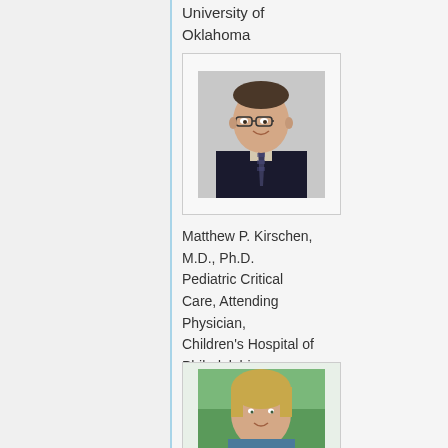University of Oklahoma
[Figure (photo): Headshot of Matthew P. Kirschen, a man wearing glasses, a dark suit, and a patterned tie, against a gray background.]
Matthew P. Kirschen, M.D., Ph.D. Pediatric Critical Care, Attending Physician, Children's Hospital of Philadelphia
[Figure (photo): Partial headshot of a woman with blonde hair, photographed outdoors.]